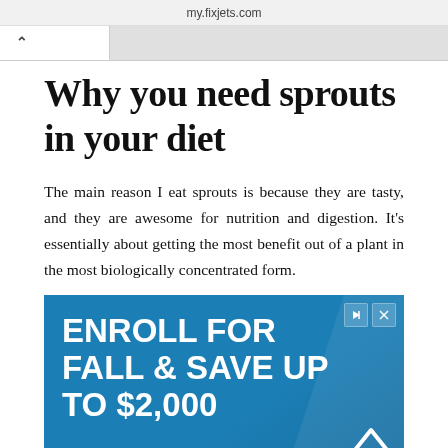my.fixjets.com
Why you need sprouts in your diet
The main reason I eat sprouts is because they are tasty, and they are awesome for nutrition and digestion. It's essentially about getting the most benefit out of a plant in the most biologically concentrated form.
[Figure (screenshot): Advertisement banner with blue gradient background reading 'ENROLL FOR FALL & SAVE UP TO $2,000' in large white bold text, with ad controls (play and close buttons) in top right corner and a chevron/up-arrow on the right side.]